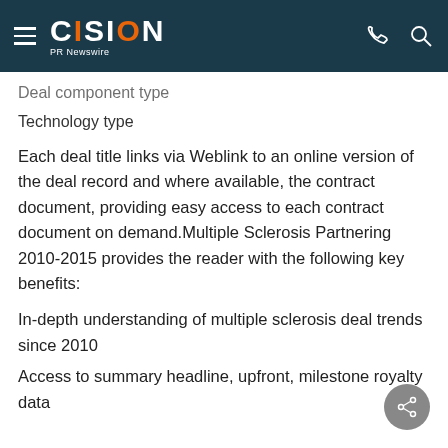CISION PR Newswire
Deal component type
Technology type
Each deal title links via Weblink to an online version of the deal record and where available, the contract document, providing easy access to each contract document on demand.Multiple Sclerosis Partnering 2010-2015 provides the reader with the following key benefits:
In-depth understanding of multiple sclerosis deal trends since 2010
Access to summary headline, upfront, milestone royalty data